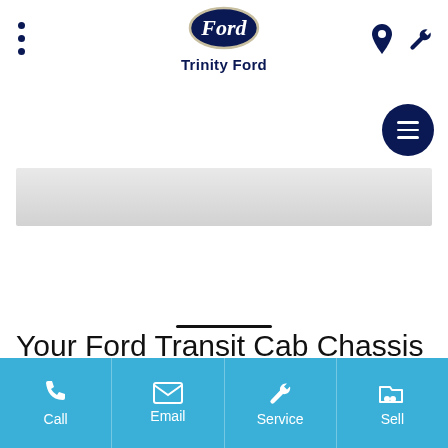[Figure (logo): Ford oval logo in dark navy blue with italic Ford script in white]
Trinity Ford
[Figure (screenshot): Mobile dealership website screenshot showing Trinity Ford header, navigation hamburger button, gray image placeholder bar, and Ford Transit Cab Chassis page title with bottom action bar containing Call, Email, Service, Sell]
Your Ford Transit Cab Chassis
Call  Email  Service  Sell